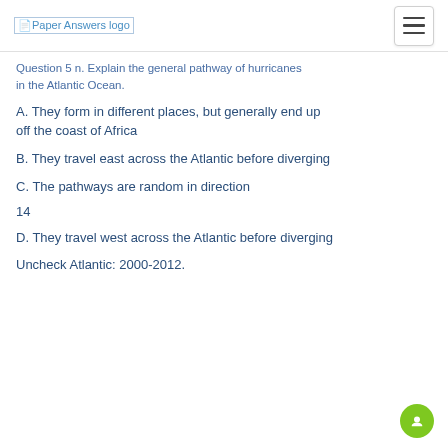Paper Answers logo
Question 5 n. Explain the general pathway of hurricanes in the Atlantic Ocean.
A. They form in different places, but generally end up off the coast of Africa
B. They travel east across the Atlantic before diverging
C. The pathways are random in direction
14
D. They travel west across the Atlantic before diverging
Uncheck Atlantic: 2000-2012.